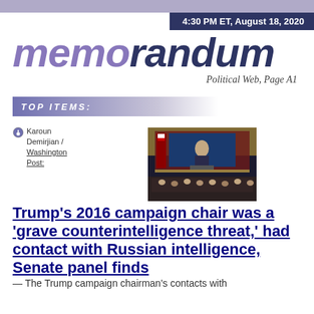4:30 PM ET, August 18, 2020
memeorandum
Political Web, Page A1
TOP ITEMS:
Karoun Demirjian / Washington Post:
[Figure (photo): Photo of Trump speaking at Republican National Convention with large screen backdrop and flags]
Trump's 2016 campaign chair was a 'grave counterintelligence threat,' had contact with Russian intelligence, Senate panel finds — The Trump campaign chairman's contacts with